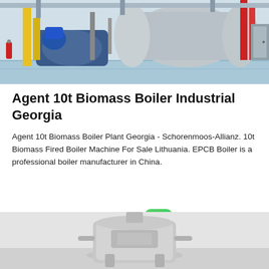[Figure (photo): Industrial boiler room interior with large blue cylindrical boilers, yellow and red pipes, blue epoxy floor]
Agent 10t Biomass Boiler Industrial Georgia
Agent 10t Biomass Boiler Plant Georgia - Schorenmoos-Allianz. 10t Biomass Fired Boiler Machine For Sale Lithuania. EPCB Boiler is a professional boiler manufacturer in China.
[Figure (other): Get Price button (cyan/teal rounded rectangle), WhatsApp icon (green rounded square with phone handset), Contact us now! button (green pill)]
[Figure (photo): Industrial boiler or heating equipment in a white room, partially visible at bottom of page]